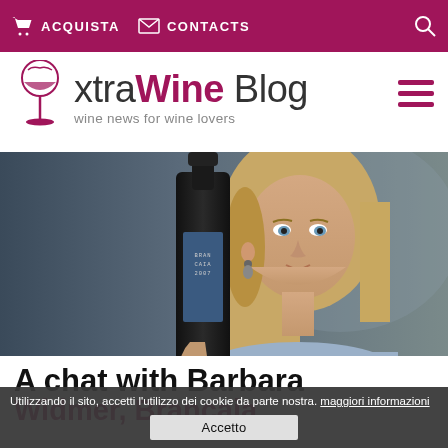ACQUISTA  CONTACTS
[Figure (logo): xtraWine Blog logo with wine glass icon and tagline 'wine news for wine lovers']
[Figure (photo): Blonde woman holding a Brancaia 2007 wine bottle, looking at camera]
A chat with Barbara Widmer, Brancaia
Utilizzando il sito, accetti l'utilizzo dei cookie da parte nostra. maggiori informazioni
Accetto